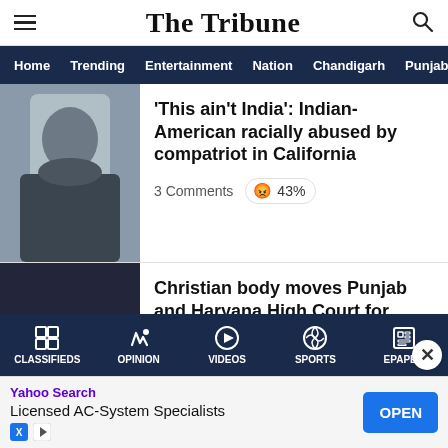The Tribune
Home | Trending | Entertainment | Nation | Chandigarh | Punjab
'This ain't India': Indian-American racially abused by compatriot in California
3 Comments 😠 43%
[Figure (photo): Photo of a man in a dark shirt standing in what appears to be an indoor setting]
Christian body moves Punjab and Haryana High Court for protection of
[Figure (photo): Photo of a sign reading PUNJAB AND HARYANA in golden letters on a dark background]
CLASSIFIEDS | OPINION | VIDEOS | SPORTS | EPAPER
Yahoo Search Licensed AC-System Specialists OPEN